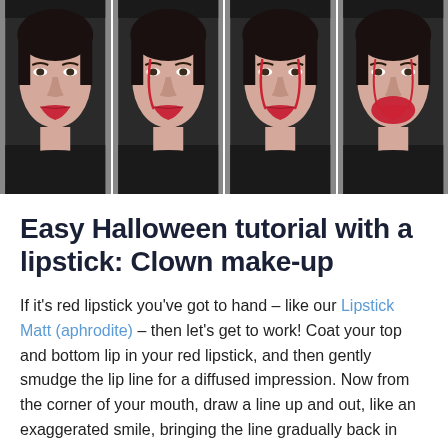[Figure (photo): A horizontal strip of four photos showing a woman's face demonstrating clown makeup steps with red lipstick. Each photo shows a progressive application of exaggerated lip lines drawn from the corners of the mouth upward on the cheeks, shown with red lines on a pale face against a dark background.]
Easy Halloween tutorial with a lipstick: Clown make-up
If it's red lipstick you've got to hand – like our Lipstick Matt (aphrodite) – then let's get to work! Coat your top and bottom lip in your red lipstick, and then gently smudge the lip line for a diffused impression. Now from the corner of your mouth, draw a line up and out, like an exaggerated smile, bringing the line gradually back in until it finishes in the middle of your bottom lash line. Carefully